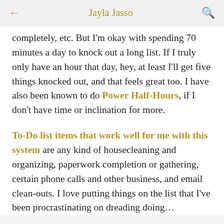← Jayla Jasso 🔍
completely, etc. But I'm okay with spending 70 minutes a day to knock out a long list. If I truly only have an hour that day, hey, at least I'll get five things knocked out, and that feels great too. I have also been known to do Power Half-Hours, if I don't have time or inclination for more.
To-Do list items that work well for me with this system are any kind of housecleaning and organizing, paperwork completion or gathering, certain phone calls and other business, and email clean-outs. I love putting things on the list that I've been procrastinating on dreading doing…